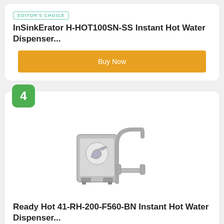EDITOR'S CHOICE
InSinkErator H-HOT100SN-SS Instant Hot Water Dispenser...
Buy Now
4
[Figure (photo): Photo of a silver/brushed steel instant hot water dispenser unit with a gooseneck faucet and two-handle setup]
Ready Hot 41-RH-200-F560-BN Instant Hot Water Dispenser...
Buy Now